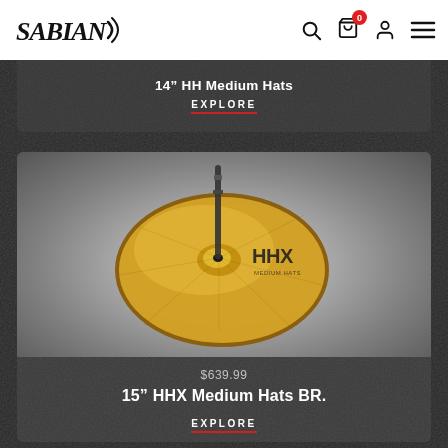SABIAN
14" HH Medium Hats
EXPLORE
[Figure (photo): A gold SABIAN HHX series cymbal (hi-hat) on a stand, viewed from slightly above, with HHX logo visible on the cymbal surface.]
$639.99
15" HHX Medium Hats BR.
EXPLORE